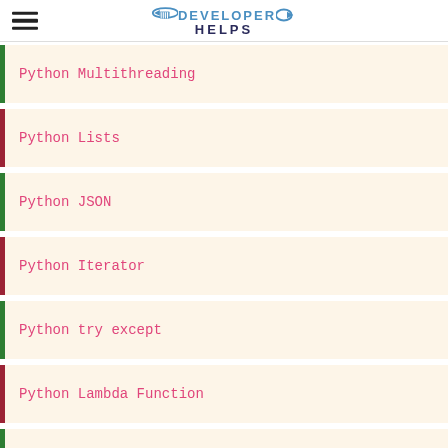DEVELOPER HELPS
Python Multithreading
Python Lists
Python JSON
Python Iterator
Python try except
Python Lambda Function
Python Read File